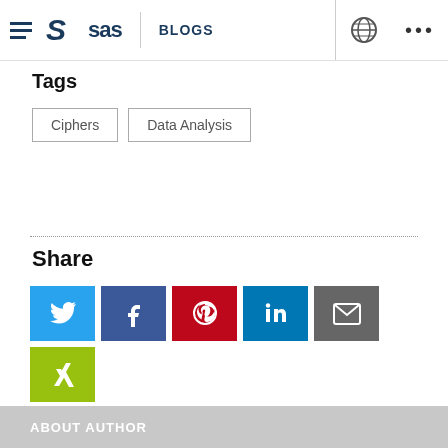SAS BLOGS
Tags
Ciphers  Data Analysis
Share
[Figure (other): Social share buttons: Twitter, Facebook, Pinterest, LinkedIn, Email, Xing]
ABOUT AUTHOR